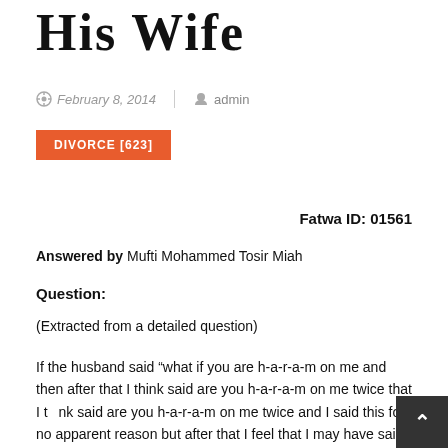His Wife
February 8, 2014  |  admin
DIVORCE [623]
Fatwa ID: 01561
Answered by Mufti Mohammed Tosir Miah
Question:
(Extracted from a detailed question)
If the husband said “what if you are h-a-r-a-m on me and then after that I think said are you h-a-r-a-m on me twice that I think said are you h-a-r-a-m on me twice and I said this for no apparent reason but after that I feel that I may have said to her